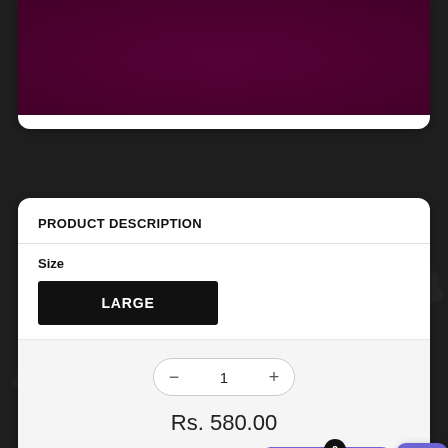[Figure (photo): Dark purple/maroon fabric texture image at top of product card]
PRODUCT DESCRIPTION
Size
LARGE
1
Rs. 580.00
Add to Cart
Add to wis
0